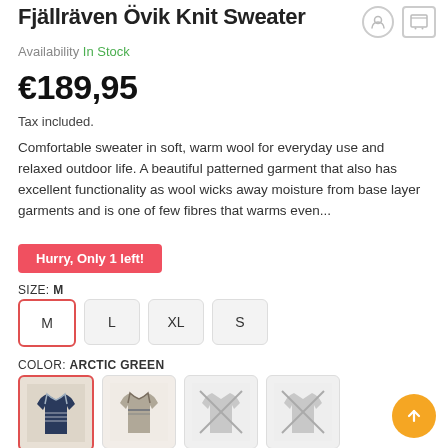Fjällräven Övik Knit Sweater
Availability In Stock
€189,95
Tax included.
Comfortable sweater in soft, warm wool for everyday use and relaxed outdoor life. A beautiful patterned garment that also has excellent functionality as wool wicks away moisture from base layer garments and is one of few fibres that warms even...
Hurry, Only 1 left!
SIZE: M
COLOR: ARCTIC GREEN
[Figure (other): Four color swatches of the Fjällräven Övik Knit Sweater: first swatch selected (dark navy pattern, arctic green), second swatch (light grey/beige), third and fourth swatches crossed out (unavailable).]